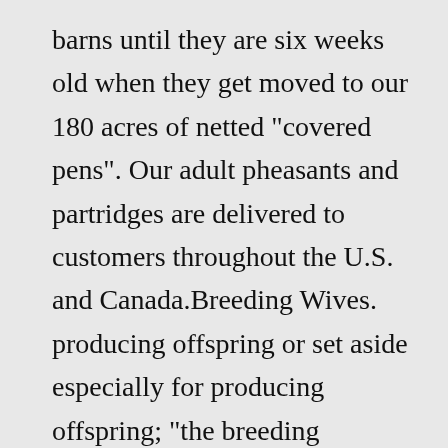barns until they are six weeks old when they get moved to our 180 acres of netted "covered pens". Our adult pheasants and partridges are delivered to customers throughout the U.S. and Canada.Breeding Wives. producing offspring or set aside especially for producing offspring; "the breeding population"; "retained a few bulls for breeding purposes". The activity of controlling the mating and production of